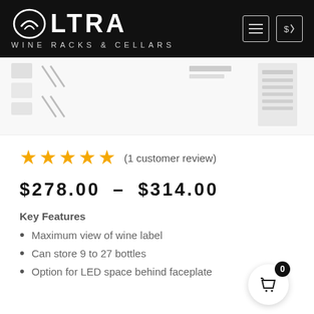[Figure (logo): Ultra Wine Racks & Cellars logo in white on black header with hamburger menu and currency icon]
[Figure (screenshot): Thumbnail image strip of product photos (wine rack images, blurred/small)]
★★★★★ (1 customer review)
$278.00 – $314.00
Key Features
Maximum view of wine label
Can store 9 to 27 bottles
Option for LED space behind faceplate